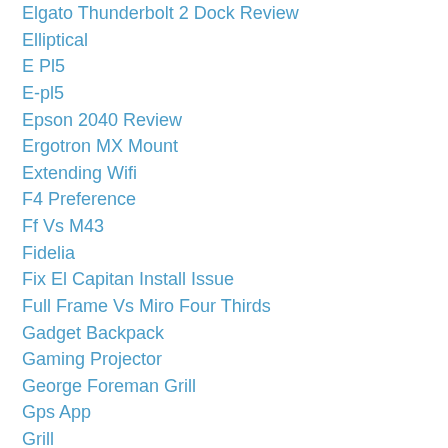Elgato Thunderbolt 2 Dock Review
Elliptical
E Pl5
E-pl5
Epson 2040 Review
Ergotron MX Mount
Extending Wifi
F4 Preference
Ff Vs M43
Fidelia
Fix El Capitan Install Issue
Full Frame Vs Miro Four Thirds
Gadget Backpack
Gaming Projector
George Foreman Grill
Gps App
Grill
Grilling
Grilling Out With A Griddle
Harken Hoister
Hdmi To Ethernet